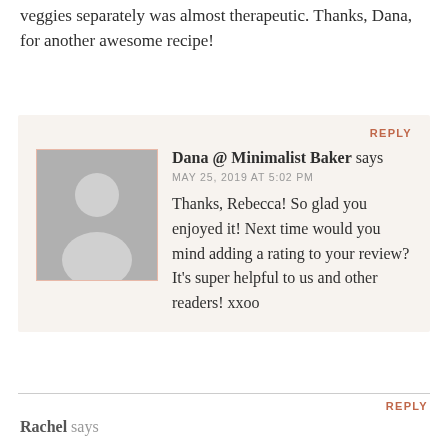veggies separately was almost therapeutic. Thanks, Dana, for another awesome recipe!
REPLY
Dana @ Minimalist Baker says
MAY 25, 2019 AT 5:02 PM
Thanks, Rebecca! So glad you enjoyed it! Next time would you mind adding a rating to your review? It's super helpful to us and other readers! xxoo
REPLY
Rachel says